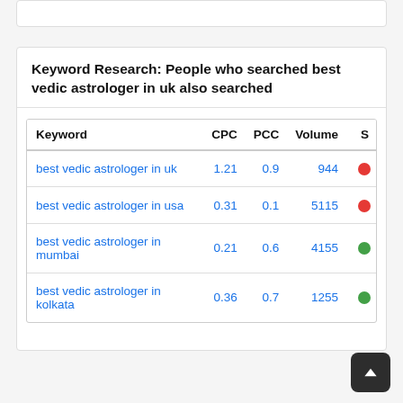Keyword Research: People who searched best vedic astrologer in uk also searched
| Keyword | CPC | PCC | Volume | S |
| --- | --- | --- | --- | --- |
| best vedic astrologer in uk | 1.21 | 0.9 | 944 | ● |
| best vedic astrologer in usa | 0.31 | 0.1 | 5115 | ● |
| best vedic astrologer in mumbai | 0.21 | 0.6 | 4155 | ● |
| best vedic astrologer in kolkata | 0.36 | 0.7 | 1255 | ● |